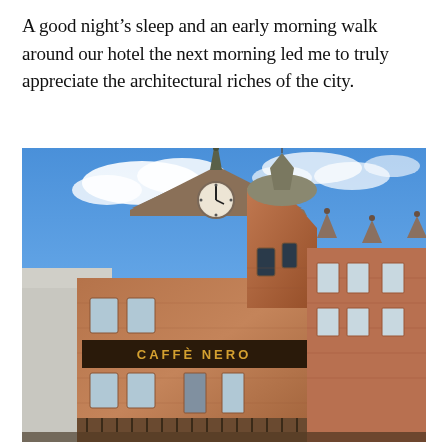A good night's sleep and an early morning walk around our hotel the next morning led me to truly appreciate the architectural riches of the city.
[Figure (photo): Upward-angle photograph of a Victorian red sandstone building with ornate architectural details including a clock face on a gabled dormer, a turret with a domed roof and weather vane, decorative stone carvings, and a Caffè Nero signage band. Blue sky with scattered white clouds in the background.]